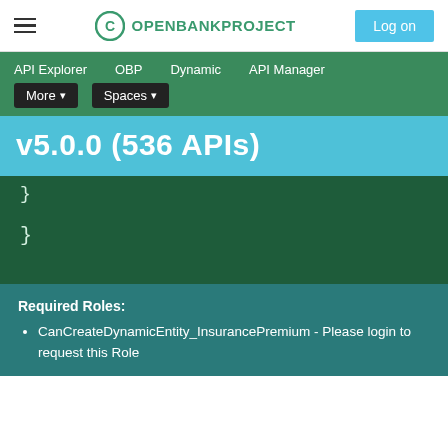OPENBANKPROJECT  Log on
API Explorer   OBP   Dynamic   API Manager   More   Spaces
v5.0.0 (536 APIs)
}
Required Roles:
CanCreateDynamicEntity_InsurancePremium - Please login to request this Role